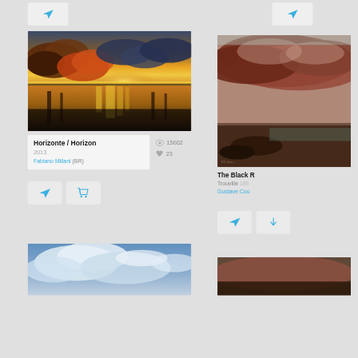[Figure (screenshot): UI screenshot of an art gallery website showing artwork cards with images, titles, artist names, view counts, and action buttons]
[Figure (photo): Painting: sunset over water with dramatic orange and red clouds reflected in calm water - 'Horizonte / Horizon' by Fabiano Millani, 2013]
Horizonte / Horizon
2013
Fabiano Millani (BR)
15602
23
[Figure (photo): Painting: stormy dark reddish-brown cloudscape over coastal scene - 'The Black R... Trouville' by Gustave Cou..., 186...]
The Black R
Trouville 186
Gustave Cou